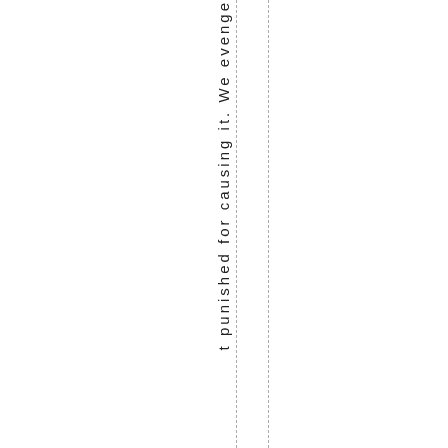t punished for causing it. We evenge